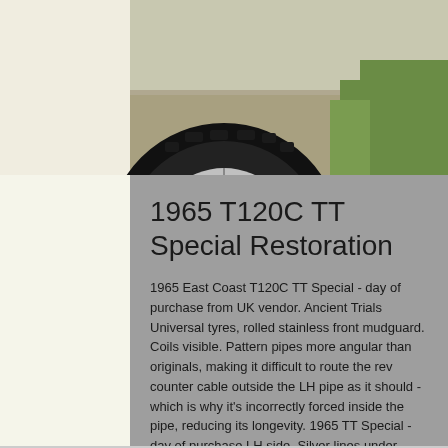[Figure (photo): Partial photo of a motorcycle front wheel with knobby trials tyre on gravel ground, with green grass visible at right edge. Only the bottom portion of the wheel is visible.]
1965 T120C TT Special Restoration
1965 East Coast T120C TT Special - day of purchase from UK vendor. Ancient Trials Universal tyres, rolled stainless front mudguard. Coils visible. Pattern pipes more angular than originals, making it difficult to route the rev counter cable outside the LH pipe as it should - which is why it's incorrectly forced inside the pipe, reducing its longevity. 1965 TT Special - day of purchase LH side. Silver lines under knee pads visible - should be underneath the tank. Cheap pattern